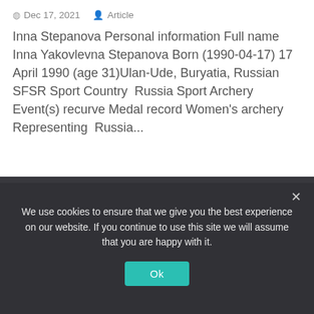Dec 17, 2021  Article
Inna Stepanova Personal information Full name Inna Yakovlevna Stepanova Born (1990-04-17) 17 April 1990 (age 31)Ulan-Ude, Buryatia, Russian SFSR Sport Country  Russia Sport Archery Event(s) recurve Medal record Women's archery Representing  Russia...
[Figure (other): Dark placeholder/video embed area below the article text]
We use cookies to ensure that we give you the best experience on our website. If you continue to use this site we will assume that you are happy with it.